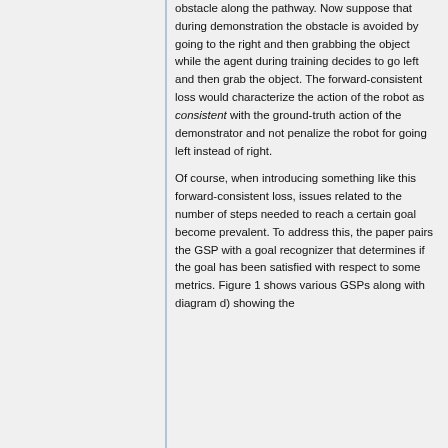obstacle along the pathway. Now suppose that during demonstration the obstacle is avoided by going to the right and then grabbing the object while the agent during training decides to go left and then grab the object. The forward-consistent loss would characterize the action of the robot as consistent with the ground-truth action of the demonstrator and not penalize the robot for going left instead of right.
Of course, when introducing something like this forward-consistent loss, issues related to the number of steps needed to reach a certain goal become prevalent. To address this, the paper pairs the GSP with a goal recognizer that determines if the goal has been satisfied with respect to some metrics. Figure 1 shows various GSPs along with diagram d) showing the